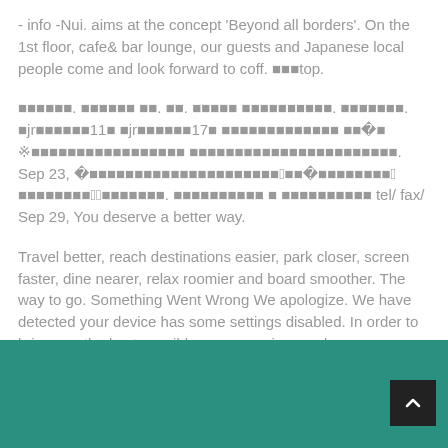- info -Nui. aims at the concept 'Beyond all borders'. On the 1st floor, cafe& bar lounge, our guests and Japanese local people come and look forward to coff. ■■■top.
■■■■■■. ■■■■■■ ■■. ■■. ■■■■■ ■■■■■■■■■■. ■■■■■■■. ■jr■■■■■■11■ ■jr■■■■■■17■ ■■■■■■■■■■■■■ ■■■10■ ※■■■■■■■■■■■■■■■■■ ■■■■■■■■■■■■■■■■■■■■■■■. Sep 23, ■92■■■■■■■■■■■■■■■■■■■■■■2■■■23■■■■■■■■■1■■■■■■■■■1■2■■■■■■■. ■■■■■■■■■■ ■ ■■■■■■■■■■ tel/ fax/ Sep 29, You deserve a better way.
Travel better, reach destinations easier, park closer, screen faster, dine nearer, relax roomier and board smoother. The way to go. Something Went Wrong We apologize. We have detected your device has some settings disabled. In order to bring you the best possible user experience, please ensure: 1. JavaScrip.